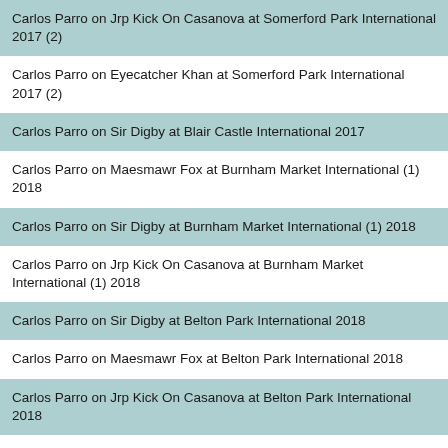Carlos Parro on Jrp Kick On Casanova at Somerford Park International 2017 (2)
Carlos Parro on Eyecatcher Khan at Somerford Park International 2017 (2)
Carlos Parro on Sir Digby at Blair Castle International 2017
Carlos Parro on Maesmawr Fox at Burnham Market International (1) 2018
Carlos Parro on Sir Digby at Burnham Market International (1) 2018
Carlos Parro on Jrp Kick On Casanova at Burnham Market International (1) 2018
Carlos Parro on Sir Digby at Belton Park International 2018
Carlos Parro on Maesmawr Fox at Belton Park International 2018
Carlos Parro on Jrp Kick On Casanova at Belton Park International 2018
Carlos Parro on Vicount Volani at Kelsall Hill (1) 2018
Carlos Parro on Reubens Promise at Kelsall Hill (1) 2018
Carlos Parro on Eyecatcher Khan at Kelsall Hill (1) 2018
Carlos Parro on Goliath Iii at Kelsall Hill (1) 2018
Carlos Parro on Maesmawr Fox at Richmond (1) 2018
Carlos Parro on Sir Digby at Richmond (1) 2018
Carlos Parro on Goliath Iii at Chatsworth International 2018
Carlos Parro on Jrp Kick On Casanova at Chatsworth International 2018